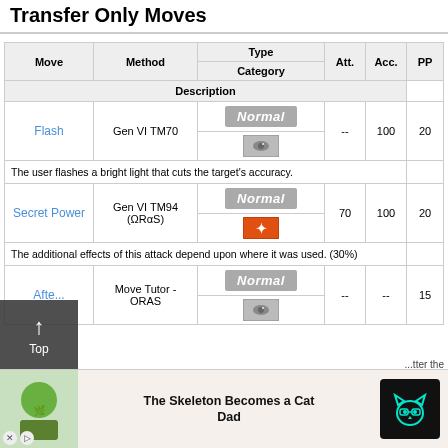Transfer Only Moves
| Move | Method | Type / Category | Att. | Acc. | PP |
| --- | --- | --- | --- | --- | --- |
| Flash | Gen VI TM70 | Normal / Status | -- | 100 | 20 |
| Flash |  | The user flashes a bright light that cuts the target's accuracy. |  |  |  |
| Secret Power | Gen VI TM94 (ΩRαS) | Normal / Physical | 70 | 100 | 20 |
| Secret Power |  | The additional effects of this attack depend upon where it was used. (30%) |  |  |  |
| After... | Move Tutor - ORAS | Normal / Status | -- | -- | 15 |
[Figure (other): Advertisement banner: The Skeleton Becomes a Cat Dad, with cat icon]